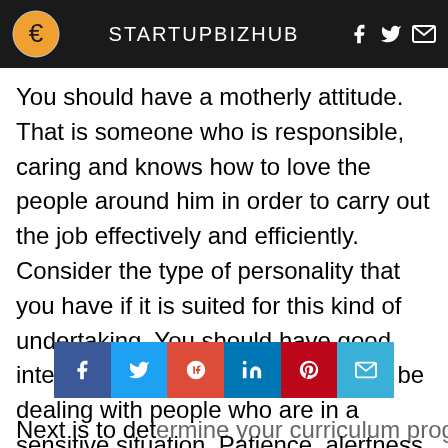STARTUPBIZHUB
You should have a motherly attitude. That is someone who is responsible, caring and knows how to love the people around him in order to carry out the job effectively and efficiently. Consider the type of personality that you have if it is suited for this kind of undertaking. You should have good interpersonal skills since you would be dealing with people who are in a sensitive situation. Patience, alertness, speed and being able to follow instructions is a must since you would not only be dealing with your patients but also with the medical team who is supervising their condition.
Next is to determine your curriculum program is being